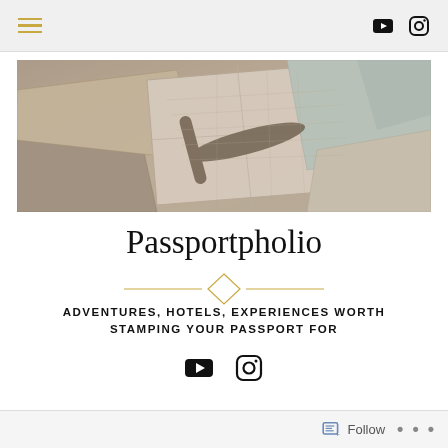Navigation bar with hamburger menu and social icons (YouTube, Instagram)
[Figure (photo): Overhead view of scattered vintage maps and folded paper maps arranged on a surface]
Passportpholio
ADVENTURES, HOTELS, EXPERIENCES WORTH STAMPING YOUR PASSPORT FOR
[Figure (other): Social media icons: YouTube and Instagram]
Follow • •••